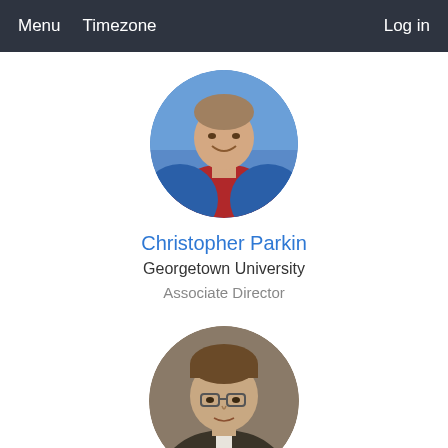Menu   Timezone   Log in
[Figure (photo): Circular profile photo of Christopher Parkin, a man smiling wearing a blue and red jacket outdoors]
Christopher Parkin
Georgetown University
Associate Director
[Figure (photo): Circular profile photo of a man wearing glasses and a suit, professional headshot]